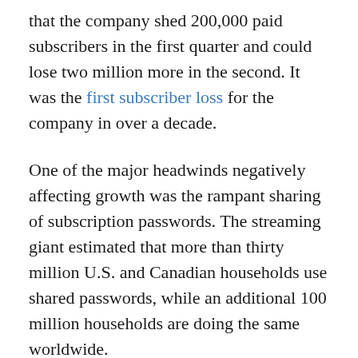that the company shed 200,000 paid subscribers in the first quarter and could lose two million more in the second. It was the first subscriber loss for the company in over a decade.
One of the major headwinds negatively affecting growth was the rampant sharing of subscription passwords. The streaming giant estimated that more than thirty million U.S. and Canadian households use shared passwords, while an additional 100 million households are doing the same worldwide.